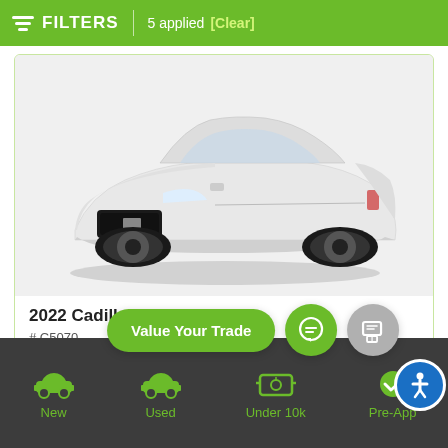FILTERS | 5 applied [Clear]
[Figure (photo): 2022 Cadillac CT4 white sports sedan, front three-quarter view on white background]
2022 Cadillac CT4-
# C5070
[Figure (screenshot): Action buttons: Value Your Trade (green pill), chat icon (green circle), text/message icon (gray circle)]
New | Used | Under 10k | Pre-App